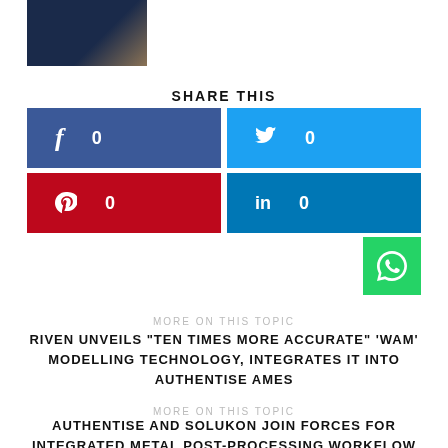[Figure (photo): Portrait photo of a person in a dark suit with a tie, partially visible at top left]
SHARE THIS
[Figure (infographic): Social share buttons: Facebook (0), Twitter (0), Pinterest (0), LinkedIn (0), WhatsApp]
MORE ON THIS TOPIC
RIVEN UNVEILS "TEN TIMES MORE ACCURATE" 'WAM' MODELLING TECHNOLOGY, INTEGRATES IT INTO AUTHENTISE AMES
MORE ON THIS TOPIC
AUTHENTISE AND SOLUKON JOIN FORCES FOR INTEGRATED METAL POST-PROCESSING WORKFLOW